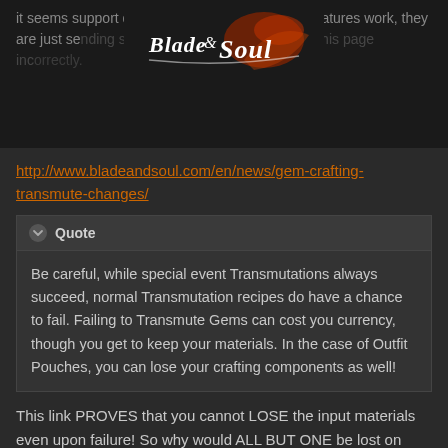it seems support doesn't even know how these features work, they are just sending scripted responses and quoting this page incorrectly.
[Figure (logo): Blade & Soul game logo, white stylized text with orange/red flame decoration on dark background]
http://www.bladeandsoul.com/en/news/gem-crafting-transmute-changes/
Quote
Be careful, while special event Transmutations always succeed, normal Transmutation recipes do have a chance to fail. Failing to Transmute Gems can cost you currency, though you get to keep your materials. In the case of Outfit Pouches, you can lose your crafting components as well!
This link PROVES that you cannot LOSE the input materials even upon failure! So why would ALL BUT ONE be lost on success? There is no sense to this logic.